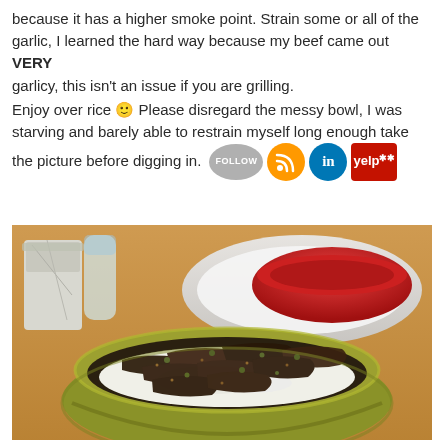because it has a higher smoke point. Strain some or all of the garlic, I learned the hard way because my beef came out VERY garlicy, this isn't an issue if you are grilling.
Enjoy over rice 🙂 Please disregard the messy bowl, I was starving and barely able to restrain myself long enough take the picture before digging in.
[Figure (photo): A green bowl filled with seasoned beef strips served over white rice, placed on a wooden table with a red bowl and foil-wrapped item in the background.]